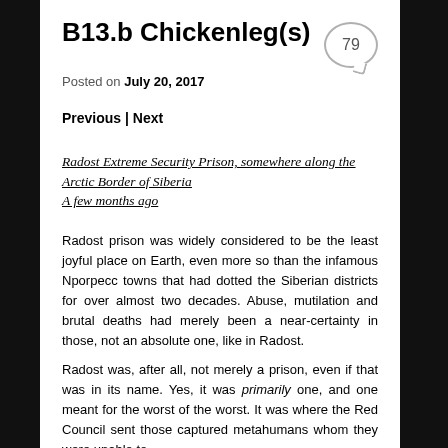B13.b Chickenleg(s)
Posted on July 20, 2017
Previous | Next
Radost Extreme Security Prison, somewhere along the Arctic Border of Siberia
A few months ago
Radost prison was widely considered to be the least joyful place on Earth, even more so than the infamous Nporpecc towns that had dotted the Siberian districts for over almost two decades. Abuse, mutilation and brutal deaths had merely been a near-certainty in those, not an absolute one, like in Radost.
Radost was, after all, not merely a prison, even if that was in its name. Yes, it was primarily one, and one meant for the worst of the worst. It was where the Red Council sent those captured metahumans whom they were unable to